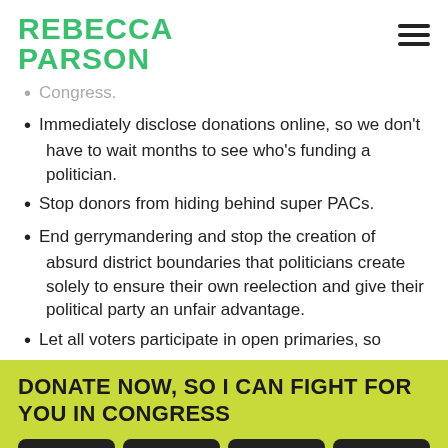REBECCA PARSON
Congress.
Immediately disclose donations online, so we don't have to wait months to see who's funding a politician.
Stop donors from hiding behind super PACs.
End gerrymandering and stop the creation of absurd district boundaries that politicians create solely to ensure their own reelection and give their political party an unfair advantage.
Let all voters participate in open primaries, so
DONATE NOW, SO I CAN FIGHT FOR YOU IN CONGRESS
$7
$11
$27
$50
OTHER